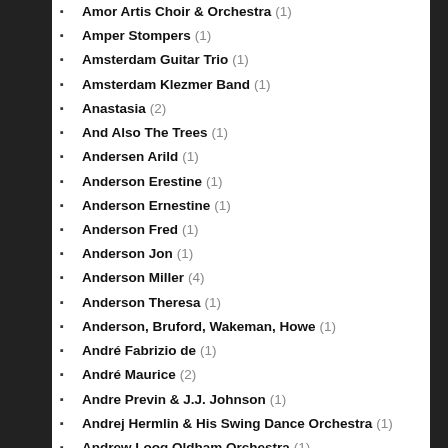Amor Artis Choir & Orchestra (1)
Amper Stompers (1)
Amsterdam Guitar Trio (1)
Amsterdam Klezmer Band (1)
Anastasia (2)
And Also The Trees (1)
Andersen Arild (1)
Anderson Erestine (1)
Anderson Ernestine (1)
Anderson Fred (1)
Anderson Jon (1)
Anderson Miller (4)
Anderson Theresa (1)
Anderson, Bruford, Wakeman, Howe (1)
André Fabrizio de (1)
André Maurice (2)
Andre Previn & J.J. Johnson (1)
Andrej Hermlin & His Swing Dance Orchestra (1)
Andrew Loog Oldham Orchestra (1)
Andrew Sisters (1)
Andrews Chris (2)
Andrieu Jean-Marc (1)